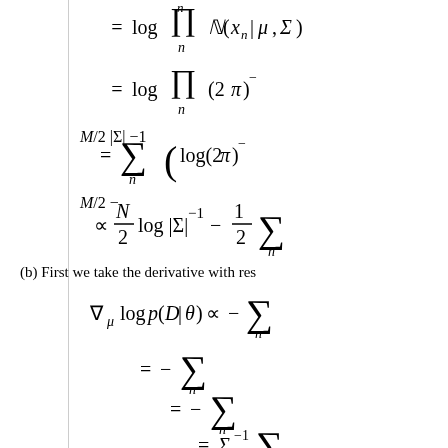(b) First we take the derivative with respect to ...